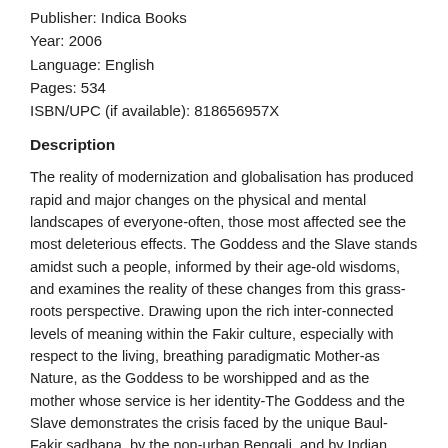Publisher: Indica Books
Year: 2006
Language: English
Pages: 534
ISBN/UPC (if available): 818656957X
Description
The reality of modernization and globalisation has produced rapid and major changes on the physical and mental landscapes of everyone-often, those most affected see the most deleterious effects. The Goddess and the Slave stands amidst such a people, informed by their age-old wisdoms, and examines the reality of these changes from this grass-roots perspective. Drawing upon the rich inter-connected levels of meaning within the Fakir culture, especially with respect to the living, breathing paradigmatic Mother-as Nature, as the Goddess to be worshipped and as the mother whose service is her identity-The Goddess and the Slave demonstrates the crisis faced by the unique Baul-Fakir sadhana, by the non-urban Bengali, and by Indian society itself.